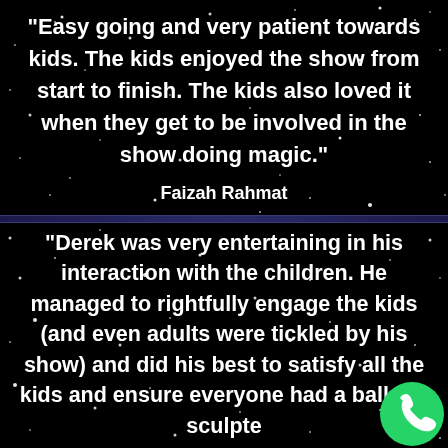"Easy going and very patient towards kids. The kids enjoyed the show from start to finish. The kids also loved it when they get to be involved in the show doing magic."
Faizah Rahmat
"Derek was very entertaining in his interaction with the children. He managed to rightfully engage the kids (and even adults were tickled by his show) and did his best to satisfy all the kids and ensure everyone had a balloon sculpte
[Figure (logo): WhatsApp logo - green circle with white phone handset icon]